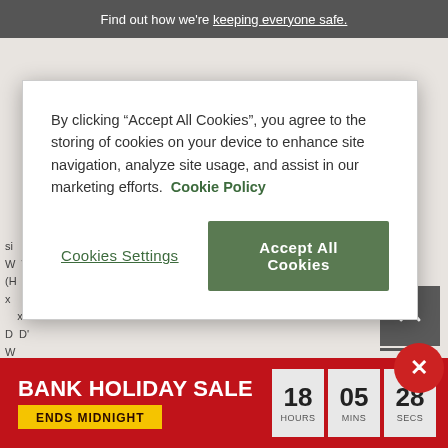Find out how we're keeping everyone safe.
By clicking “Accept All Cookies”, you agree to the storing of cookies on your device to enhance site navigation, analyze site usage, and assist in our marketing efforts. Cookie Policy
Cookies Settings
Accept All Cookies
[Figure (screenshot): Partially visible website content behind cookie modal, showing truncated text and pricing information]
BANK HOLIDAY SALE ENDS MIDNIGHT 18 HOURS 05 MINS 28 SECS